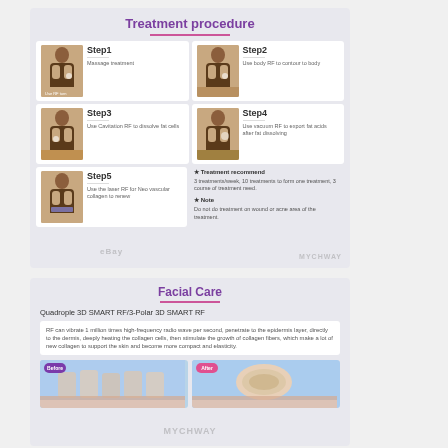[Figure (infographic): Treatment procedure infographic showing 5 steps with body silhouette images. Step1: Massage treatment. Step2: Use body RF to contour to body. Step3: Use Cavitation RF to dissolve fat cells. Step4: Use vacuum RF to export fat acids after fat dissolving. Step5: Use the laser RF for Neo vascular collagen to renew. Plus treatment recommendation and notes.]
[Figure (infographic): Facial Care infographic showing Quadrople 3D SMART RF / 3-Polar 3D SMART RF description with before/after skin diagram. RF can vibrate 1 million times high-frequency radio wave per second, penetrate to the epidermis layer, directly to the dermis, deeply heating the collagen cells, then stimulate the growth of collagen fibers, which make a lot of new collagen to support the skin and become more compact and elasticity.]